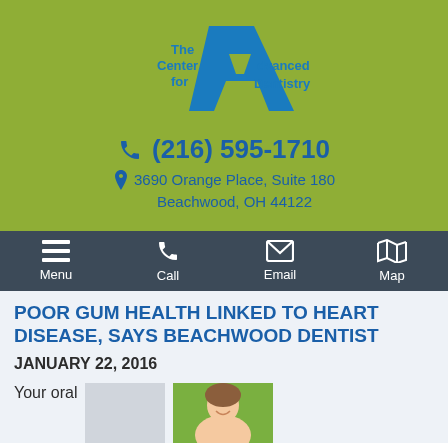[Figure (logo): The Center for Advanced Dentistry logo with large blue letter A and text]
(216) 595-1710
3690 Orange Place, Suite 180
Beachwood, OH 44122
[Figure (infographic): Navigation bar with Menu, Call, Email, Map icons]
POOR GUM HEALTH LINKED TO HEART DISEASE, SAYS BEACHWOOD DENTIST
JANUARY 22, 2016
Your oral